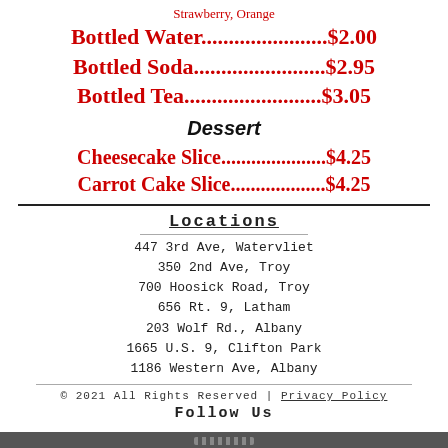Strawberry, Orange
Bottled Water.......................  $2.00
Bottled Soda........................  $2.95
Bottled Tea.........................  $3.05
Dessert
Cheesecake Slice....................  $4.25
Carrot Cake Slice...................  $4.25
Locations
447 3rd Ave, Watervliet
350 2nd Ave, Troy
700 Hoosick Road, Troy
656 Rt. 9, Latham
203 Wolf Rd., Albany
1665 U.S. 9, Clifton Park
1186 Western Ave, Albany
© 2021 All Rights Reserved | Privacy Policy
Follow Us